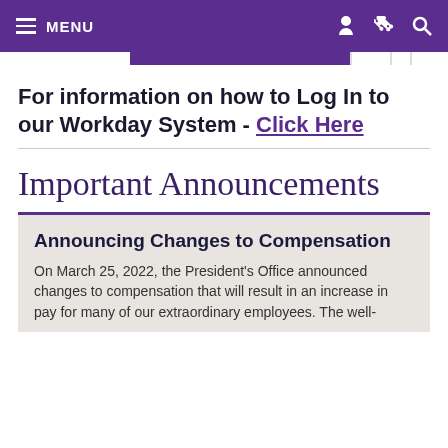MENU
For information on how to Log In to our Workday System - Click Here
Important Announcements
Announcing Changes to Compensation
On March 25, 2022, the President's Office announced changes to compensation that will result in an increase in pay for many of our extraordinary employees. The well-